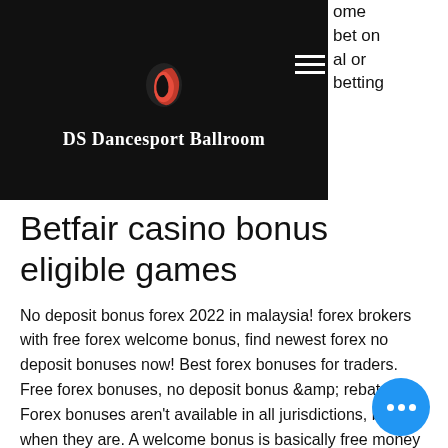[Figure (logo): DS Dancesport Ballroom logo with stylized red dancer figure on black background]
Betfair casino bonus eligible games
No deposit bonus forex 2022 in malaysia! forex brokers with free forex welcome bonus, find newest forex no deposit bonuses now! Best forex bonuses for traders. Free forex bonuses, no deposit bonus &amp; rebates. Forex bonuses aren't available in all jurisdictions, but when they are. A welcome bonus is basically free money that a broker gives you when you open an account. However, only a few forex brokers still offer. Yes, it is now the welcome bonus plus lets traders, like you, take a special bo $65 when make the first deposit (minimal